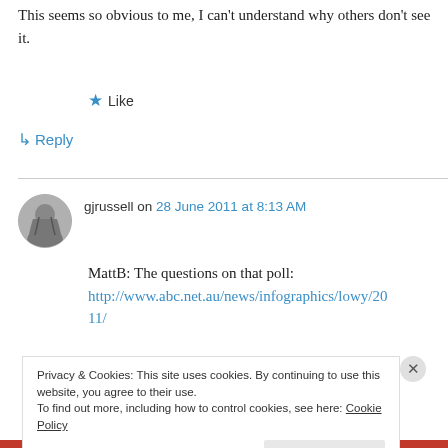This seems so obvious to me, I can't understand why others don't see it.
★ Like
↵ Reply
gjrussell on 28 June 2011 at 8:13 AM
MattB: The questions on that poll:
http://www.abc.net.au/news/infographics/lowy/2011/
Privacy & Cookies: This site uses cookies. By continuing to use this website, you agree to their use.
To find out more, including how to control cookies, see here: Cookie Policy
Close and accept